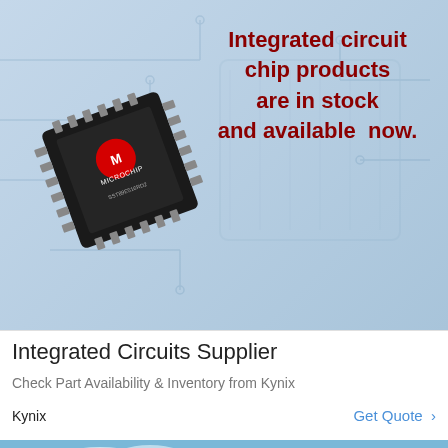[Figure (photo): Light blue advertisement banner showing a Microchip-branded integrated circuit chip (SST89E516RD2) on the left with dark body and pin leads, against a light blue background with faint circuit board pattern.]
Integrated circuit chip products are in stock and available now.
Integrated Circuits Supplier
Check Part Availability & Inventory from Kynix
Kynix
Get Quote >
[Figure (photo): Outdoor nature photo showing two brown bears (viewed from behind) in the foreground, with green forested hills and mountains in the background under a partly cloudy sky. White bold text overlay reads 'Family Fun in the 49th State'. Below are six social media icon buttons: Facebook (blue), Twitter (light blue), Google+ (red), RSS (orange), Instagram (blue-grey), Pinterest (red).]
Family Fun in the 49th State